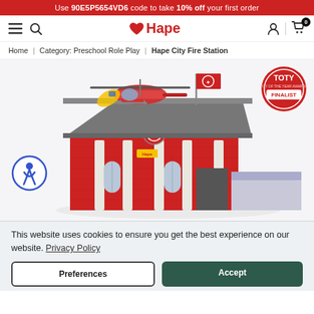Use 90E5P5654VD6 code to take 10% off your first order
[Figure (screenshot): Hape website navigation bar with hamburger menu, search, Hape heart logo, user icon, language icon, and cart icon with 0 items]
Home | Category: Preschool Role Play | Hape City Fire Station
[Figure (photo): Hape City Fire Station toy product photo showing a red brick fire station building with grey roof, helicopter on top, fire truck inside, and a flag. TOTY Finalist badge in top right corner. Accessibility icon on left side.]
This website uses cookies to ensure you get the best experience on our website. Privacy Policy
Preferences
Accept